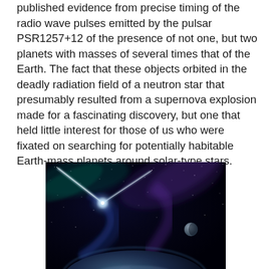published evidence from precise timing of the radio wave pulses emitted by the pulsar PSR1257+12 of the presence of not one, but two planets with masses of several times that of the Earth. The fact that these objects orbited in the deadly radiation field of a neutron star that presumably resulted from a supernova explosion made for a fascinating discovery, but one that held little interest for those of us who were fixated on searching for potentially habitable Earth-mass planets around solar-type stars.
[Figure (illustration): Artist's illustration of a pulsar system with planets in space, showing a bright neutron star emitting beams of blue-green light, with swirling purple and blue nebula wisps, stars in the background, a planet visible in the lower foreground and a smaller moon-like body to the right.]